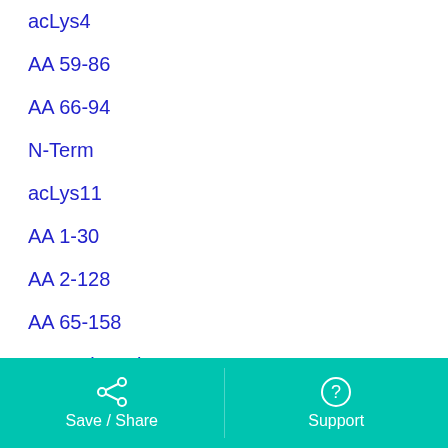acLys4
AA 59-86
AA 66-94
N-Term
acLys11
AA 1-30
AA 2-128
AA 65-158
Internal Region
+ Show More
Save / Share   Support